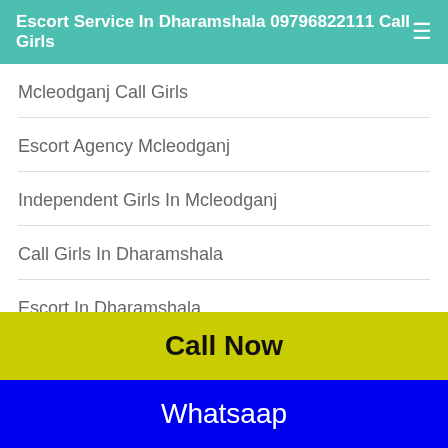Escort Service In Dharamshala 09796822111 Call Girls
Mcleodganj Call Girls
Escort Agency Mcleodganj
Independent Girls In Mcleodganj
Call Girls In Dharamshala
Escort In Dharamshala
Call Now
Whatsaap